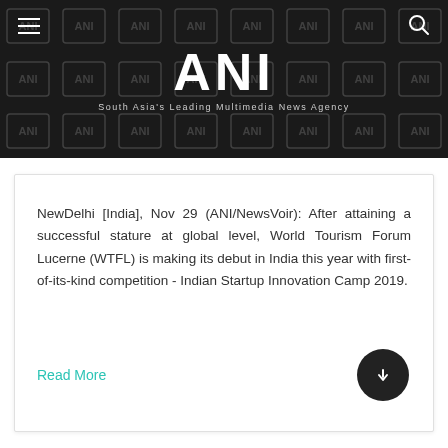ANI — South Asia's Leading Multimedia News Agency
NewDelhi [India], Nov 29 (ANI/NewsVoir): After attaining a successful stature at global level, World Tourism Forum Lucerne (WTFL) is making its debut in India this year with first-of-its-kind competition - Indian Startup Innovation Camp 2019.
Read More